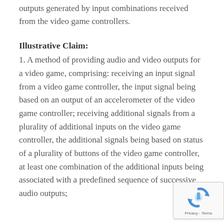outputs generated by input combinations received from the video game controllers.
Illustrative Claim:
1. A method of providing audio and video outputs for a video game, comprising: receiving an input signal from a video game controller, the input signal being based on an output of an accelerometer of the video game controller; receiving additional signals from a plurality of additional inputs on the video game controller, the additional signals being based on status of a plurality of buttons of the video game controller, at least one combination of the additional inputs being associated with a predefined sequence of successive audio outputs;
[Figure (logo): reCAPTCHA badge with rotating arrows icon and Privacy - Terms text]